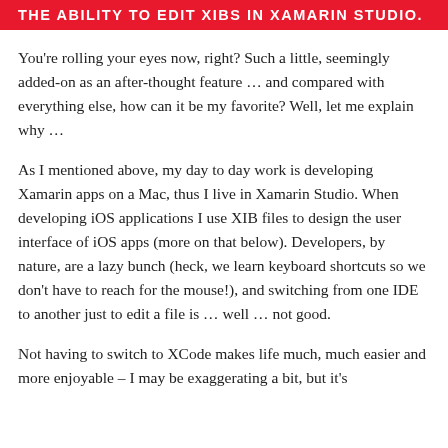THE ABILITY TO EDIT XIBS IN XAMARIN STUDIO.
You're rolling your eyes now, right? Such a little, seemingly added-on as an after-thought feature … and compared with everything else, how can it be my favorite? Well, let me explain why …
As I mentioned above, my day to day work is developing Xamarin apps on a Mac, thus I live in Xamarin Studio. When developing iOS applications I use XIB files to design the user interface of iOS apps (more on that below). Developers, by nature, are a lazy bunch (heck, we learn keyboard shortcuts so we don't have to reach for the mouse!), and switching from one IDE to another just to edit a file is … well … not good.
Not having to switch to XCode makes life much, much easier and more enjoyable – I may be exaggerating a bit, but it's